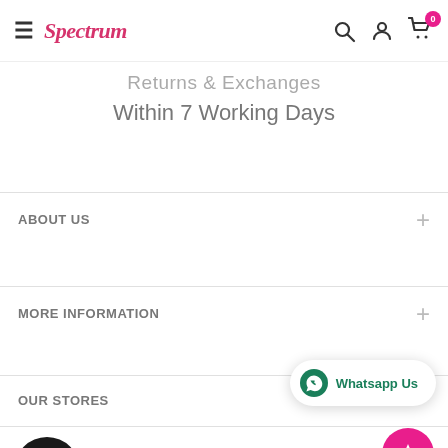≡ Spectrum [logo] 🔍 👤 🛒 0
Returns & Exchanges
Within 7 Working Days
ABOUT US +
MORE INFORMATION +
OUR STORES +
Whatsapp Us
G OFF YOUR FIRST ORDER
Be one of the first to find out about new brands,